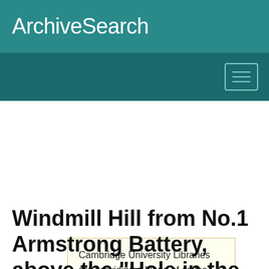ArchiveSearch
Cambridge University Libraries are providing a blend of online and controlled in-person services. Please see our website for more details.
Windmill Hill from No.1 Armstrong Battery, above the "Hole in the Wall", 1866